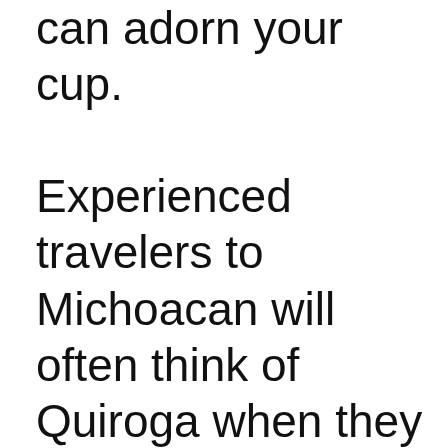can adorn your cup.

Experienced travelers to Michoacan will often think of Quiroga when they think of carnitas. That flavorful, moist unctuous meat is a filling, and when done right, unforgettable meal.